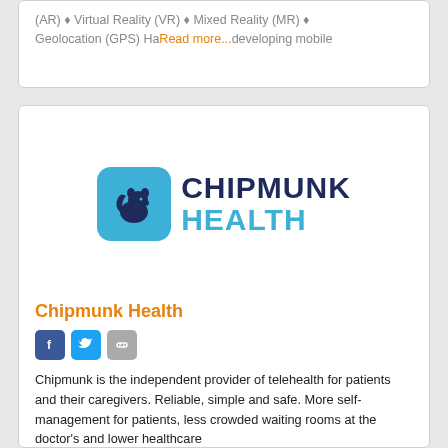(AR) ♦ Virtual Reality (VR) ♦ Mixed Reality (MR) ♦ Geolocation (GPS) Ha... Read more... ...developing mobile
[Figure (logo): Chipmunk Health logo: blue rounded square with chipmunk silhouette icon, followed by 'CHIPMUNK' in dark navy bold and 'HEALTH' in blue bold text]
Chipmunk Health
Chipmunk is the independent provider of telehealth for patients and their caregivers. Reliable, simple and safe. More self-management for patients, less crowded waiting rooms at the doctor's and lower healthcare